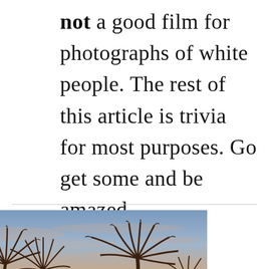not a good film for photographs of white people. The rest of this article is trivia for most purposes. Go get some and be amazed.
[Figure (photo): Photograph of palm trees with feathery fronds silhouetted against a warm sunset sky with light clouds in shades of blue, pink, and orange.]